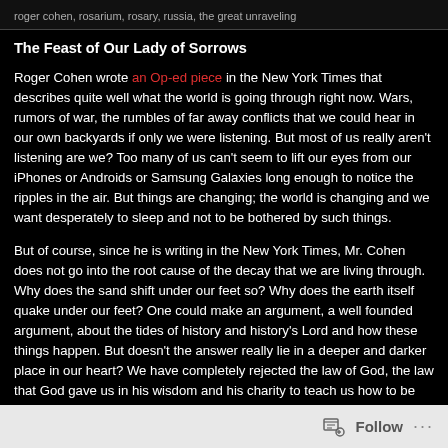roger cohen, rosarium, rosary, russia, the great unraveling
The Feast of Our Lady of Sorrows
Roger Cohen wrote an Op-ed piece in the New York Times that describes quite well what the world is going through right now.  Wars, rumors of war, the rumbles of far away conflicts that we could hear in our own backyards if only we were listening.  But most of us really aren't listening are we?  Too many of us can't seem to lift our eyes from our iPhones or Androids or Samsung Galaxies long enough to notice the ripples in the air.  But things are changing; the world is changing and we want desperately to sleep and not to be bothered by such things.
But of course, since he is writing in the New York Times, Mr. Cohen does not go into the root cause of the decay that we are living through.  Why does the sand shift under our feet so? Why does the earth itself quake under our feet?  One could make an argument, a well founded argument, about the tides of history and history's Lord and how these things happen.  But doesn't the answer really lie in a deeper and darker place in our heart?  We have completely rejected the law of God, the law that God gave us in his wisdom and his charity to teach us how to be his sons.  Our ancestors rejected the
Follow ...